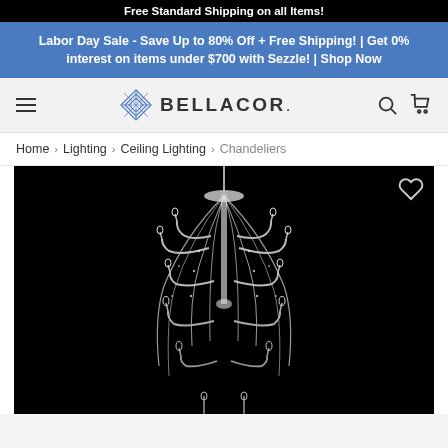Free Standard Shipping on all Items!
Labor Day Sale - Save Up to 80% Off + Free Shipping! | Get 0% interest on items under $700 with Sezzle! | Shop Now
[Figure (logo): Bellacor logo with diamond geometric icon and navigation bar with hamburger menu, search, and cart icons]
Home > Lighting > Ceiling Lighting > Chandeliers
[Figure (photo): Large crystal chandelier with multiple arms and beaded strands on black background, with wishlist heart button in top right corner]